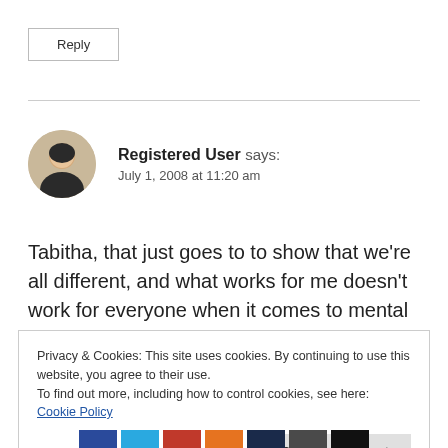Reply
Registered User says:
July 1, 2008 at 11:20 am
Tabitha, that just goes to to show that we’re all different, and what works for me doesn’t work for everyone when it comes to mental health. The
Privacy & Cookies: This site uses cookies. By continuing to use this website, you agree to their use.
To find out more, including how to control cookies, see here: Cookie Policy
Close and accept